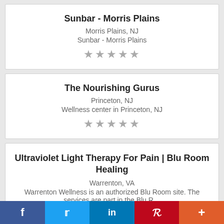Sunbar - Morris Plains
Morris Plains, NJ
Sunbar - Morris Plains
★★★★★
The Nourishing Gurus
Princeton, NJ
Wellness center in Princeton, NJ
★★★★★
Ultraviolet Light Therapy For Pain | Blu Room Healing
Warrenton, VA
Warrenton Wellness is an authorized Blu Room site. The services are part in the Blu R…
f  𝕏  in  P  +